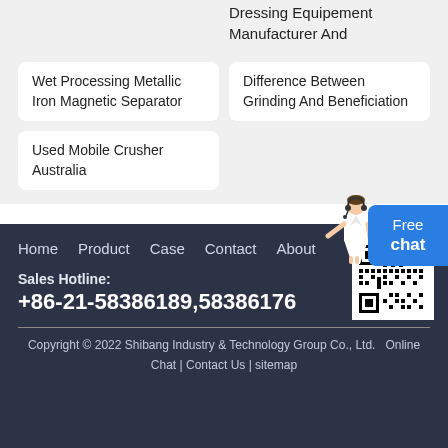Dressing Equipement Manufacturer And
Wet Processing Metallic Iron Magnetic Separator
Difference Between Grinding And Beneficiation
Used Mobile Crusher Australia
[Figure (other): Customer service representative figure with Free chat widget button]
Home   Product   Case   Contact   About
[Figure (other): QR code for website]
Sales Hotline:
+86-21-58386189,58386176
Copyright © 2022 Shibang Industry & Technology Group Co., Ltd.   Online Chat | Contact Us | sitemap